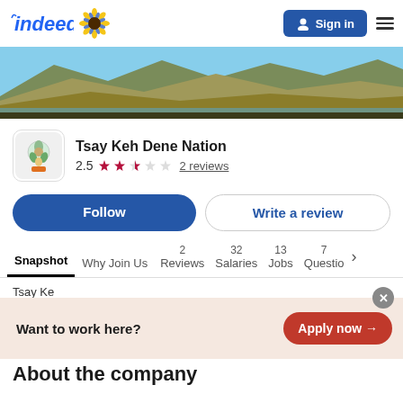indeed  Sign in
[Figure (photo): Panoramic landscape banner showing golden hills and mountains with a lake/river in the foreground under a blue sky]
Tsay Keh Dene Nation
2.5  ★★★☆☆  2 reviews
Follow  Write a review
Snapshot  Why Join Us  2 Reviews  32 Salaries  13 Jobs  7 Questio  >
Tsay Ke
Want to work here?  Apply now →
About the company